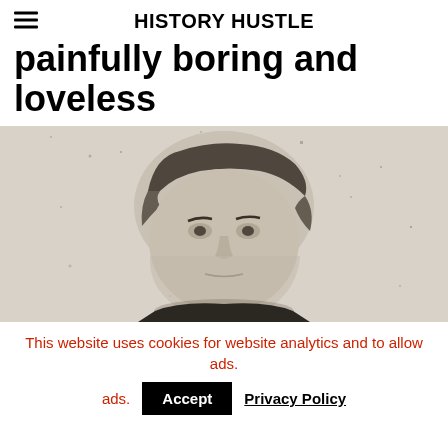HISTORY HUSTLE
painfully boring and loveless
[Figure (photo): Black and white photograph of a man's face, historical portrait, cropped showing head and upper shoulders, mid-19th century style.]
This website uses cookies for website analytics and to allow ads.
Accept   Privacy Policy